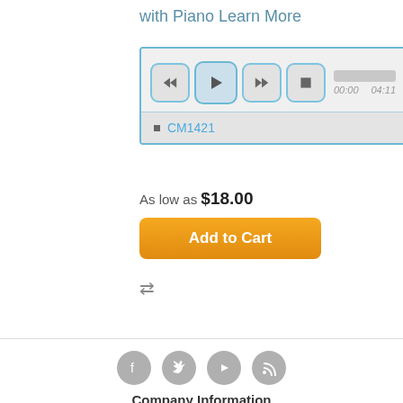with Piano Learn More
[Figure (screenshot): Audio player widget with rewind, play, fast-forward, stop buttons and a progress bar showing 00:00 to 04:11. Below is a track list item labeled CM1421.]
As low as $18.00
[Figure (other): Add to Cart orange button]
[Figure (other): Compare icon (double arrow)]
[Figure (other): Social media icons: Facebook, Twitter, YouTube, RSS]
Company Information